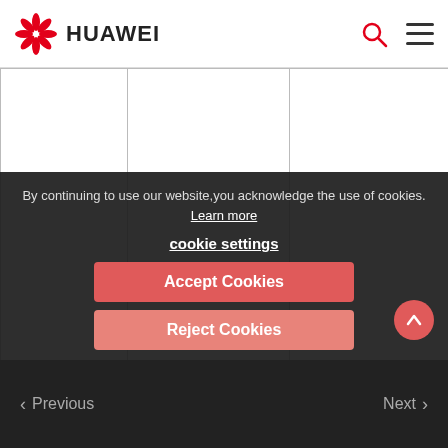HUAWEI
|  |  |  |  |
| --- | --- | --- | --- |
|  |  |  | batches.
• If the number of AI Cores configured is less than or equal the number of available AI Cores, Runtime will perform scheduling as required. The number of running AI Cores may be less than the required number of AI Cores configured. |
| dtype |  |  | Variable type of the for loop. This |
By continuing to use our website,you acknowledge the use of cookies. Learn more
cookie settings
Accept Cookies
Reject Cookies
< Previous   Next >